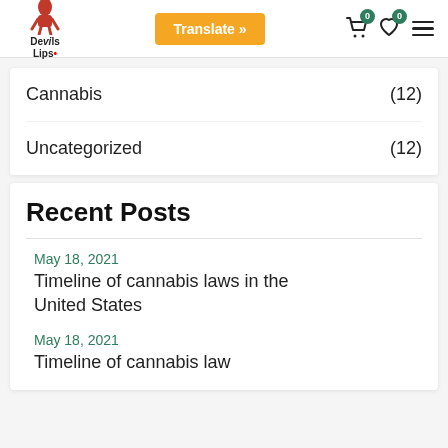Devils Lips | Translate » | Cart 0 | Wishlist 0 | Menu
Cannabis (12)
Uncategorized (12)
Recent Posts
May 18, 2021
Timeline of cannabis laws in the United States
May 18, 2021
Timeline of cannabis law